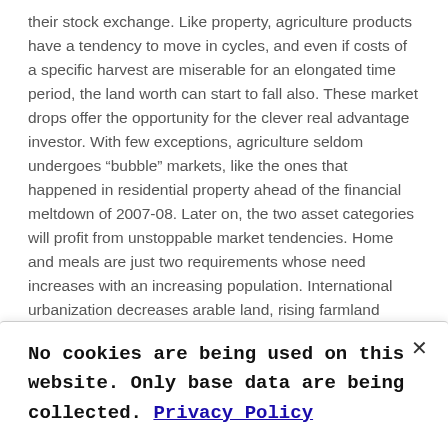their stock exchange. Like property, agriculture products have a tendency to move in cycles, and even if costs of a specific harvest are miserable for an elongated time period, the land worth can start to fall also. These market drops offer the opportunity for the clever real advantage investor. With few exceptions, agriculture seldom undergoes “bubble” markets, like the ones that happened in residential property ahead of the financial meltdown of 2007-08. Later on, the two asset categories will profit from unstoppable market tendencies. Home and meals are just two requirements whose need increases with an increasing population. International urbanization decreases arable land, rising farmland values. Ultimately, as populations rise in prosperity, they are inclined to consume more protein, yet another factor limiting the long-term prognosis of farming investments.
No cookies are being used on this website. Only base data are being collected. Privacy Policy